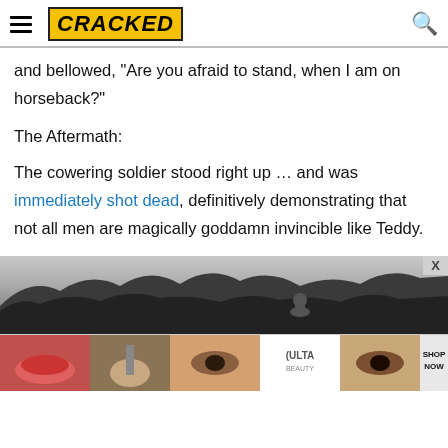CRACKED
and bellowed, "Are you afraid to stand, when I am on horseback?"
The Aftermath:
The cowering soldier stood right up … and was immediately shot dead, definitively demonstrating that not all men are magically goddamn invincible like Teddy.
[Figure (photo): Black and white photo of a forest treeline with a person wearing a hat in the foreground]
[Figure (photo): ULTA beauty advertisement banner with makeup imagery and SHOP NOW text]